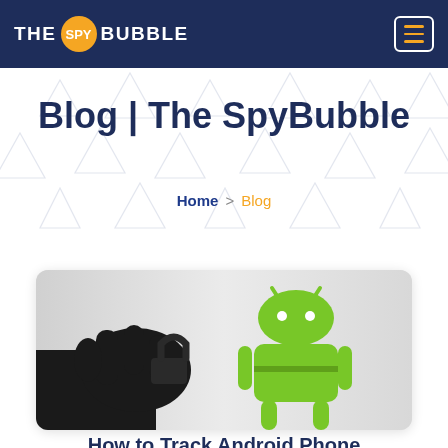THE SPY BUBBLE
Blog | The SpyBubble
Home > Blog
[Figure (photo): A silhouette of a hand holding an unlocked padlock next to a green Android robot mascot logo on a light background]
How to Track Android Phone